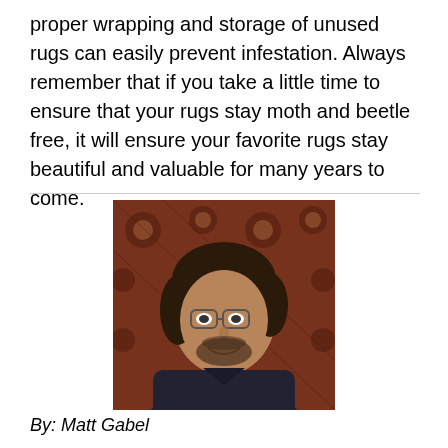proper wrapping and storage of unused rugs can easily prevent infestation. Always remember that if you take a little time to ensure that your rugs stay moth and beetle free, it will ensure your favorite rugs stay beautiful and valuable for many years to come.
[Figure (photo): Portrait photo of a middle-aged man with glasses, dark hair, and a beard, smiling, standing in front of a decorative red and brown patterned rug, wearing a dark shirt.]
By: Matt Gabel